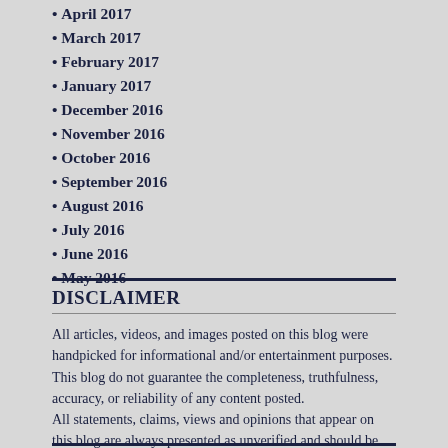April 2017
March 2017
February 2017
January 2017
December 2016
November 2016
October 2016
September 2016
August 2016
July 2016
June 2016
May 2016
DISCLAIMER
All articles, videos, and images posted on this blog were handpicked for informational and/or entertainment purposes. This blog do not guarantee the completeness, truthfulness, accuracy, or reliability of any content posted.
All statements, claims, views and opinions that appear on this blog are always presented as unverified and should be discerned by the reader.